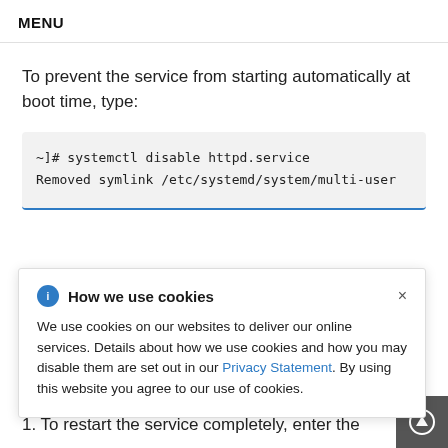MENU
To prevent the service from starting automatically at boot time, type:
[Figure (screenshot): Code block showing terminal commands: ~]# systemctl disable httpd.service
Removed symlink /etc/systemd/system/multi-user]
How we use cookies

We use cookies on our websites to deliver our online services. Details about how we use cookies and how you may disable them are set out in our Privacy Statement. By using this website you agree to our use of cookies.
1. To restart the service completely, enter the